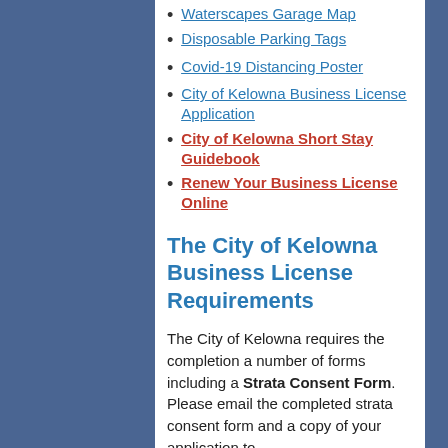Waterscapes Garage Map
Disposable Parking Tags
Covid-19 Distancing Poster
City of Kelowna Business License Application
City of Kelowna Short Stay Guidebook
Renew Your Business License Online
The City of Kelowna Business License Requirements
The City of Kelowna requires the completion a number of forms including a Strata Consent Form. Please email the completed strata consent form and a copy of your application to office@waterscapescommunity.com The council president will sign and return the form to you normally